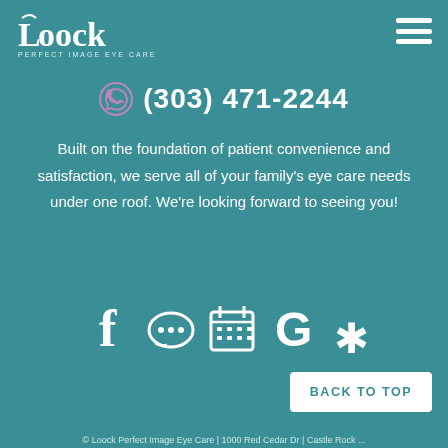[Figure (logo): Loock Perfect Image Eye Care logo — white text logo with stylized 'L' and 'oo' lettering and tagline 'Perfect Image Eye Care' below]
[Figure (other): Hamburger menu icon — three white horizontal bars in top right corner]
(303) 471-2244
Built on the foundation of patient convenience and satisfaction, we serve all of your family's eye care needs under one roof. We're looking forward to seeing you!
[Figure (infographic): Social media icons row: Facebook, chat/messaging, calendar scheduler, Google, Yelp — all white icons on teal background]
BACK TO TOP
© Loock Perfect Image Eye Care | 1000 Red Cedar Dr ...